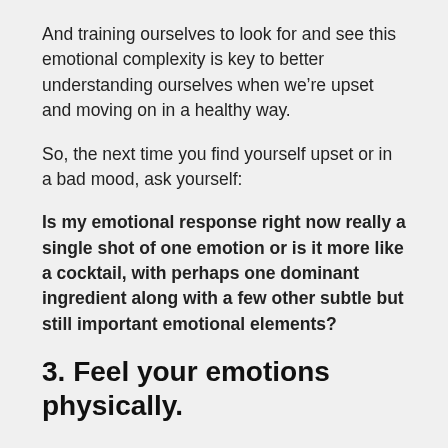And training ourselves to look for and see this emotional complexity is key to better understanding ourselves when we’re upset and moving on in a healthy way.
So, the next time you find yourself upset or in a bad mood, ask yourself:
Is my emotional response right now really a single shot of one emotion or is it more like a cocktail, with perhaps one dominant ingredient along with a few other subtle but still important emotional elements?
3. Feel your emotions physically.